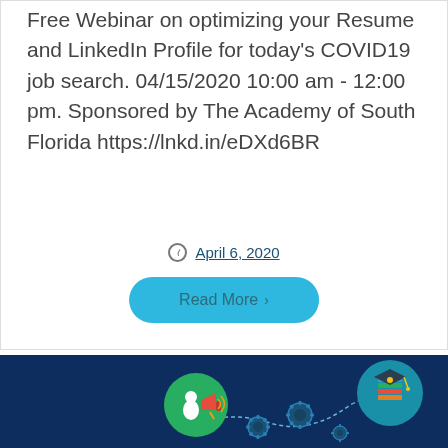Free Webinar on optimizing your Resume and LinkedIn Profile for today's COVID19 job search. 04/15/2020 10:00 am - 12:00 pm. Sponsored by The Academy of South Florida https://lnkd.in/eDXd6BR
April 6, 2020
Read More >
[Figure (illustration): Dark blue banner with educational icons: megaphone with person, gear/cog wheels, graduation cap with books on a circular badge, connected by a dotted path line]